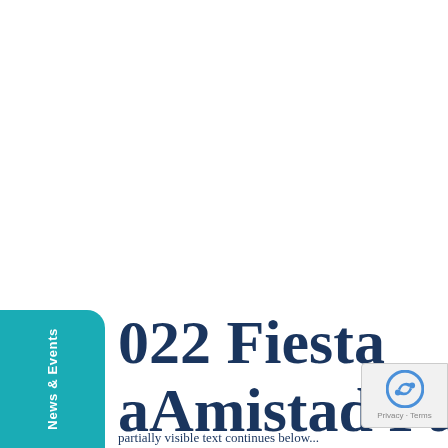[Figure (other): Teal/turquoise vertical tab on the left side with rotated white text reading 'News & Events']
2022 Fiesta
aAmistad Fundrais
partially visible subtitle text at bottom